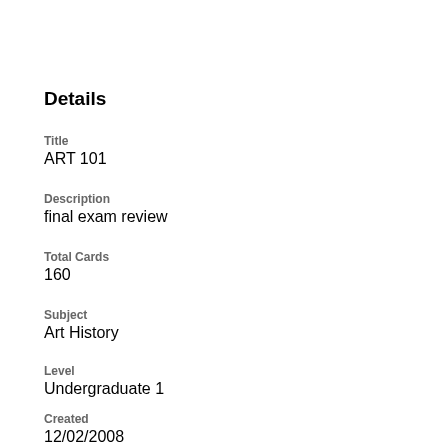Details
Title
ART 101
Description
final exam review
Total Cards
160
Subject
Art History
Level
Undergraduate 1
Created
12/02/2008